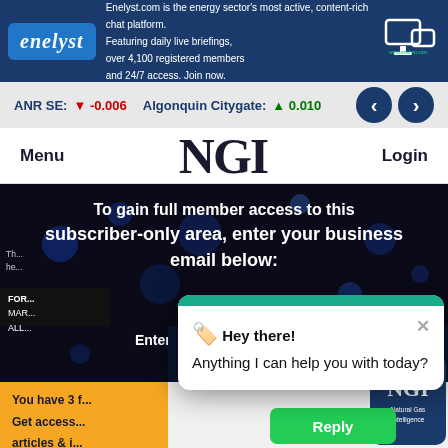[Figure (screenshot): Enelyst banner ad with logo and text about energy sector chat platform]
ANR SE: -0.006  Algonquin Citygate: +0.010
Menu  NGI  Login
subscriber-only area, enter your business email below:
Enter business email here:
[Figure (screenshot): Chat popup dialog: Hey there! Anything I can help you with today? with Reply button]
You have 3 f... Get access articles & i...
information / data would you like to see more of in NGI?